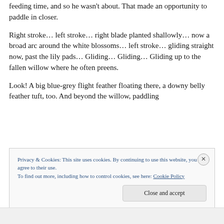That day, I visited a couple hours earlier than prime feeding time, and so he wasn't about. That made an opportunity to paddle in closer.
Right stroke… left stroke… right blade planted shallowly… now a broad arc around the white blossoms… left stroke… gliding straight now, past the lily pads… Gliding… Gliding… Gliding up to the fallen willow where he often preens.
Look! A big blue-grey flight feather floating there, a downy belly feather tuft, too. And beyond the willow, paddling
Privacy & Cookies: This site uses cookies. By continuing to use this website, you agree to their use.
To find out more, including how to control cookies, see here: Cookie Policy
Close and accept